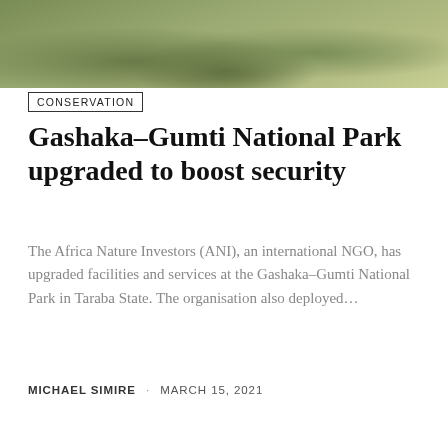[Figure (photo): Aerial or ground-level photograph of a green grassy landscape, likely a national park or savanna environment]
CONSERVATION
Gashaka-Gumti National Park upgraded to boost security
The Africa Nature Investors (ANI), an international NGO, has upgraded facilities and services at the Gashaka-Gumti National Park in Taraba State. The organisation also deployed…
MICHAEL SIMIRE · MARCH 15, 2021